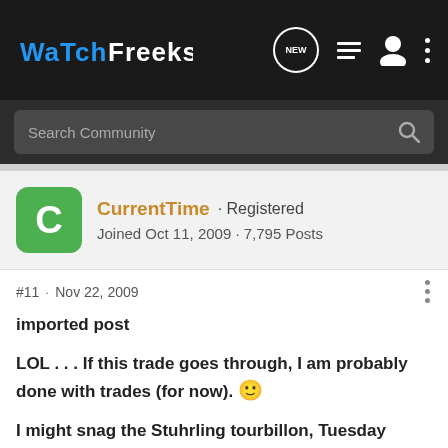WatchFreeks — NEW (icon) List (icon) User (icon) More (icon)
Search Community
CurrentTime · Registered
Joined Oct 11, 2009 · 7,795 Posts
#11 · Nov 22, 2009
imported post
LOL . . . If this trade goes through, I am probably done with trades (for now). 🙂
I might snag the Stuhrling tourbillon, Tuesday night (if there's any left).
Otherwise, my next watch purchase (hopefully) will be a